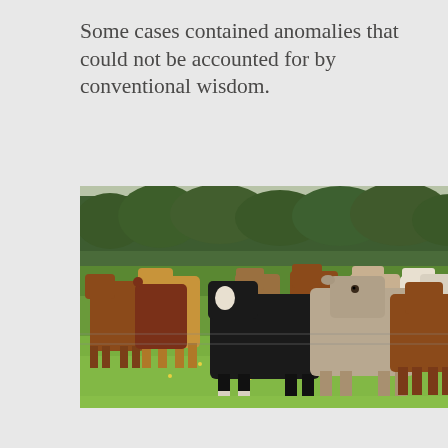Some cases contained anomalies that could not be accounted for by conventional wisdom.
[Figure (photo): A herd of cattle standing in a green grassy field. Cows of various colors including black, white, brown, and tan are visible, with trees in the background.]